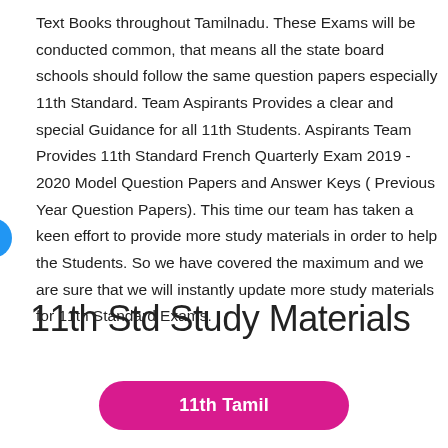Text Books throughout Tamilnadu. These Exams will be conducted common, that means all the state board schools should follow the same question papers especially 11th Standard. Team Aspirants Provides a clear and special Guidance for all 11th Students. Aspirants Team Provides 11th Standard French Quarterly Exam 2019 - 2020 Model Question Papers and Answer Keys ( Previous Year Question Papers). This time our team has taken a keen effort to provide more study materials in order to help the Students. So we have covered the maximum and we are sure that we will instantly update more study materials for 11th Standard Exams.
11th Std Study Materials
[Figure (other): Magenta/pink rounded button labeled '11th Tamil']